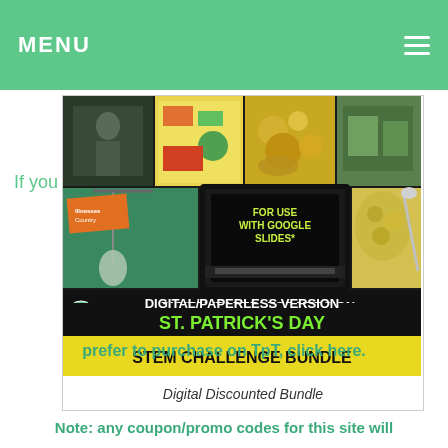MENU
If you
[Figure (photo): St. Patrick's Day STEM Challenge Bundle - Digital/Paperless Version product image collage showing various STEM activities including structures, materials, and a laptop. Text overlay reads: FOR USE WITH GOOGLE SLIDES*, DIGITAL/PAPERLESS VERSION, ST. PATRICK'S DAY, STEM CHALLENGE BUNDLE]
Digital Discounted Bundle
prefer to purchase on TpT, click here.
Note: any coupon/promo codes for this site will